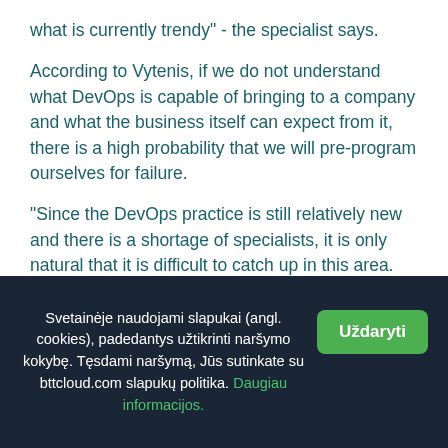what is currently trendy" - the specialist says.
According to Vytenis, if we do not understand what DevOps is capable of bringing to a company and what the business itself can expect from it, there is a high probability that we will pre-program ourselves for failure.
"Since the DevOps practice is still relatively new and there is a shortage of specialists, it is only natural that it is difficult to catch up in this area. The process of renewal is usually also hampered by the company's own fear of changing something.
Svetainėje naudojami slapukai (angl. cookies), padedantys užtikrinti naršymo kokybę. Tęsdami naršymą, Jūs sutinkate su bttcloud.com slapukų politika. Daugiau informacijos.